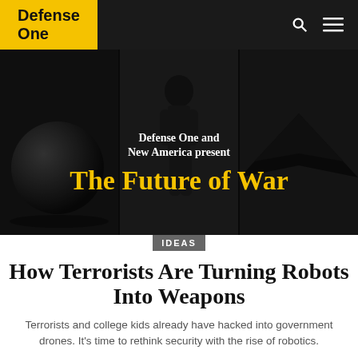Defense One
[Figure (photo): Hero banner with three dark panels: left panel shows a large black sphere, center panel shows a person in an exoskeleton, right panel shows a stealth aircraft. Overlaid text reads 'Defense One and New America present The Future of War'.]
IDEAS
How Terrorists Are Turning Robots Into Weapons
Terrorists and college kids already have hacked into government drones. It's time to rethink security with the rise of robotics.
MARC GOODMAN | APRIL 16, 2015